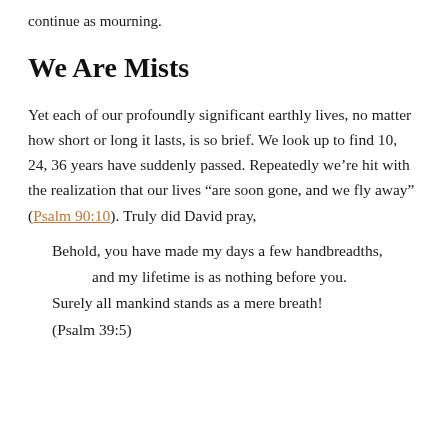continue as mourning.
We Are Mists
Yet each of our profoundly significant earthly lives, no matter how short or long it lasts, is so brief. We look up to find 10, 24, 36 years have suddenly passed. Repeatedly we’re hit with the realization that our lives “are soon gone, and we fly away” (Psalm 90:10). Truly did David pray,
Behold, you have made my days a few handbreadths,
    and my lifetime is as nothing before you.
Surely all mankind stands as a mere breath!
(Psalm 39:5)